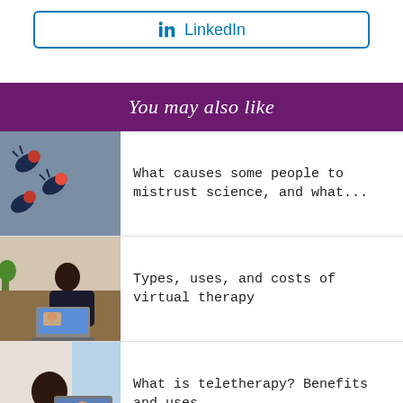[Figure (logo): LinkedIn button with icon and text 'LinkedIn' in blue, inside a rounded rectangle border]
You may also like
[Figure (photo): Microscopic image of virus particles on grey background with red/orange details]
What causes some people to mistrust science, and what...
[Figure (photo): Woman with dark hair at laptop computer, virtual therapy session]
Types, uses, and costs of virtual therapy
[Figure (photo): Person seen from behind using laptop for video call, teletherapy session]
What is teletherapy? Benefits and uses
[Figure (photo): Doctor in white coat with stethoscope sitting with patient]
Types, symptoms, and treatments of cytomegalovirus